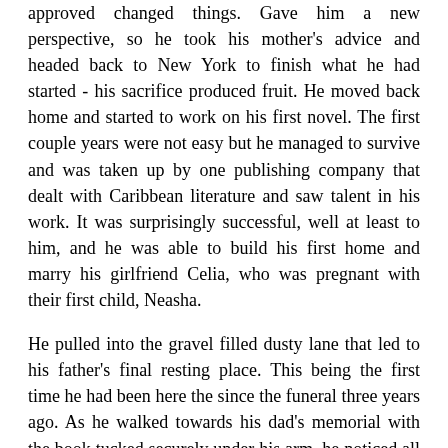approved changed things. Gave him a new perspective, so he took his mother's advice and headed back to New York to finish what he had started - his sacrifice produced fruit. He moved back home and started to work on his first novel. The first couple years were not easy but he managed to survive and was taken up by one publishing company that dealt with Caribbean literature and saw talent in his work. It was surprisingly successful, well at least to him, and he was able to build his first home and marry his girlfriend Celia, who was pregnant with their first child, Neasha.
He pulled into the gravel filled dusty lane that led to his father's final resting place. This being the first time he had been here the since the funeral three years ago. As he walked towards his dad's memorial with the book tucked securely under his arm, he noticed all the graves that had been overrun by weeds, grass and time; some gravestones even falling to ruin from neglect and poor maintenance. His family had insured that would never happen to his father's grave. They had placed that extra bit of money needed to ensure that a caretaker would clear any debris from the area, all year round. The grave stone had the legend engraved